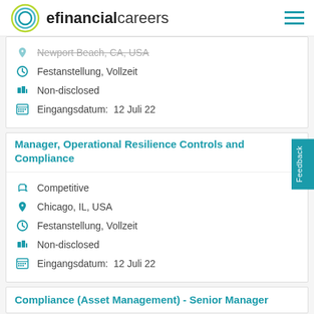efinancialcareers
Newport Beach, CA, USA
Festanstellung, Vollzeit
Non-disclosed
Eingangsdatum:  12 Juli 22
Manager, Operational Resilience Controls and Compliance
Competitive
Chicago, IL, USA
Festanstellung, Vollzeit
Non-disclosed
Eingangsdatum:  12 Juli 22
Compliance (Asset Management) - Senior Manager